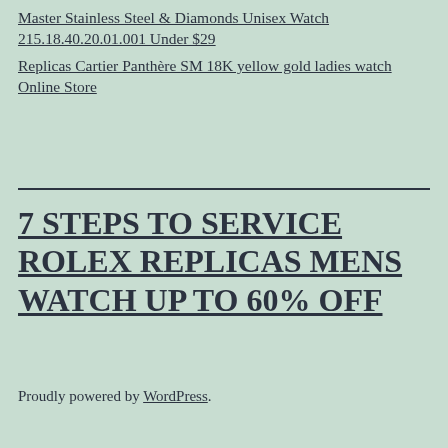Master Stainless Steel & Diamonds Unisex Watch 215.18.40.20.01.001 Under $29
Replicas Cartier Panthère SM 18K yellow gold ladies watch Online Store
7 STEPS TO SERVICE ROLEX REPLICAS MENS WATCH UP TO 60% OFF
Proudly powered by WordPress.